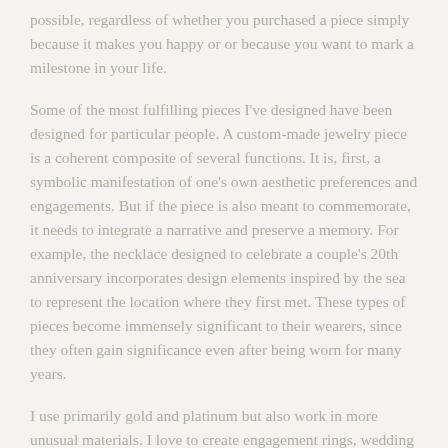possible, regardless of whether you purchased a piece simply because it makes you happy or or because you want to mark a milestone in your life.
Some of the most fulfilling pieces I've designed have been designed for particular people. A custom-made jewelry piece is a coherent composite of several functions. It is, first, a symbolic manifestation of one's own aesthetic preferences and engagements. But if the piece is also meant to commemorate, it needs to integrate a narrative and preserve a memory. For example, the necklace designed to celebrate a couple's 20th anniversary incorporates design elements inspired by the sea to represent the location where they first met. These types of pieces become immensely significant to their wearers, since they often gain significance even after being worn for many years.
I use primarily gold and platinum but also work in more unusual materials. I love to create engagement rings, wedding bands, and anniversary pieces in particular because they contain a story that strongly reflects the owner and therefore are especially meaningful. I enjoy helping clients find the right stone (or giving suggestions) and metal (sterling, gold,